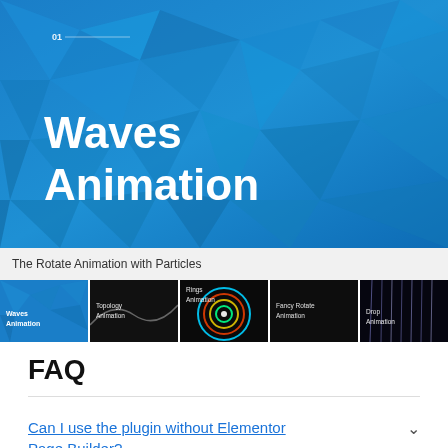[Figure (screenshot): Blue geometric polygon background with white text '01' and a progress bar at top, large white bold text 'Waves Animation' in the center-left area]
The Rotate Animation with Particles
[Figure (screenshot): Row of five animation thumbnails: Waves Animation (blue), Topology Animation (dark with wave line), Rings Animation (colorful rings), Fancy Rotate Animation (dark), Drop Animation (dark with vertical lines)]
FAQ
Can I use the plugin without Elementor Page Builder?